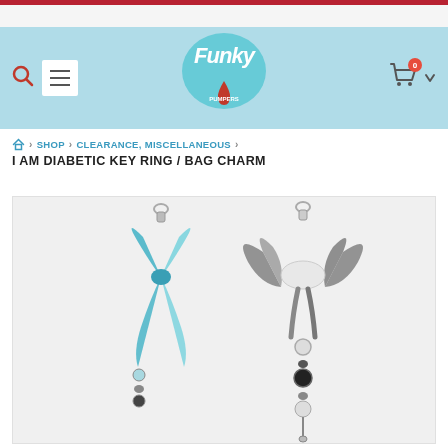[Figure (logo): Funky Pumpers logo - stylized text with a red blood drop]
SHOP > CLEARANCE, MISCELLANEOUS >
I AM DIABETIC KEY RING / BAG CHARM
[Figure (photo): Two diabetic awareness key ring / bag charms. Left: a teal/blue ribbon charm with a lobster clasp. Right: a grey bow-style charm with beads and a lobster clasp.]